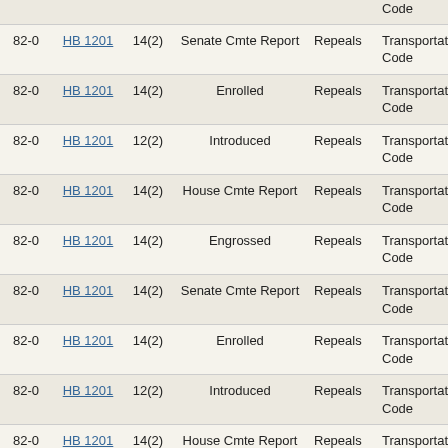| Session | Bill | Sec. | Version | Effect | Code |
| --- | --- | --- | --- | --- | --- |
| 82-0 | HB 1201 | 14(2) | Senate Cmte Report | Repeals | Transportation Code |
| 82-0 | HB 1201 | 14(2) | Enrolled | Repeals | Transportation Code |
| 82-0 | HB 1201 | 12(2) | Introduced | Repeals | Transportation Code |
| 82-0 | HB 1201 | 14(2) | House Cmte Report | Repeals | Transportation Code |
| 82-0 | HB 1201 | 14(2) | Engrossed | Repeals | Transportation Code |
| 82-0 | HB 1201 | 14(2) | Senate Cmte Report | Repeals | Transportation Code |
| 82-0 | HB 1201 | 14(2) | Enrolled | Repeals | Transportation Code |
| 82-0 | HB 1201 | 12(2) | Introduced | Repeals | Transportation Code |
| 82-0 | HB 1201 | 14(2) | House Cmte Report | Repeals | Transportation Code |
| 82-0 | HB 1201 | 14(2) | Engrossed | Repeals | Transportation Code (partial) |